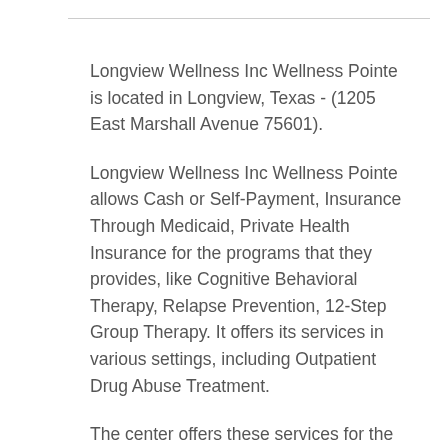Longview Wellness Inc Wellness Pointe is located in Longview, Texas - (1205 East Marshall Avenue 75601).
Longview Wellness Inc Wellness Pointe allows Cash or Self-Payment, Insurance Through Medicaid, Private Health Insurance for the programs that they provides, like Cognitive Behavioral Therapy, Relapse Prevention, 12-Step Group Therapy. It offers its services in various settings, including Outpatient Drug Abuse Treatment.
The center offers these services for the following care types: Alcohol and Drug Treatment Services, Addiction Treatment